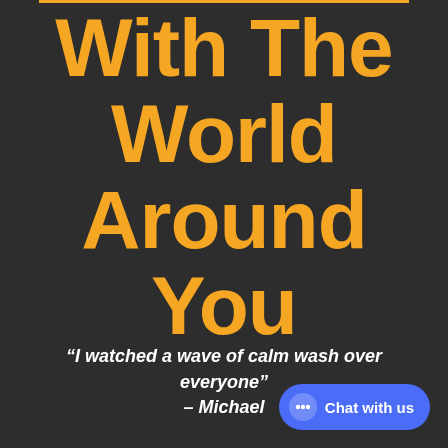Connection With The World Around You
“I watched a wave of calm wash over everyone” – Michael